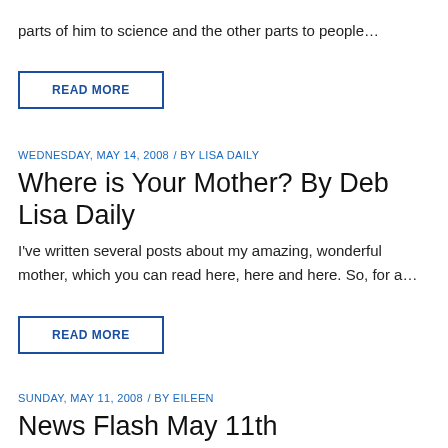parts of him to science and the other parts to people…
READ MORE
WEDNESDAY, MAY 14, 2008 / BY LISA DAILY
Where is Your Mother? By Deb Lisa Daily
I've written several posts about my amazing, wonderful mother, which you can read here, here and here. So, for a…
READ MORE
SUNDAY, MAY 11, 2008 / BY EILEEN
News Flash May 11th